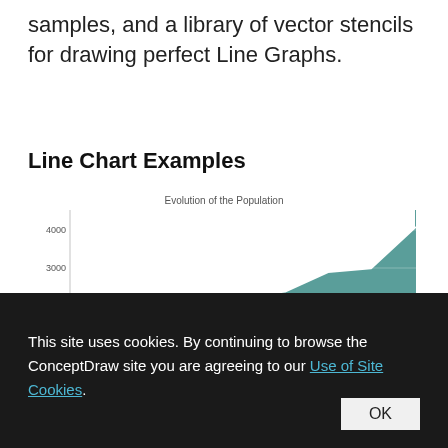samples, and a library of vector stencils for drawing perfect Line Graphs.
Line Chart Examples
[Figure (area-chart): Area line chart showing Evolution of the Population with teal fill and white line, y-axis from 0 to 4000]
This site uses cookies. By continuing to browse the ConceptDraw site you are agreeing to our Use of Site Cookies. OK